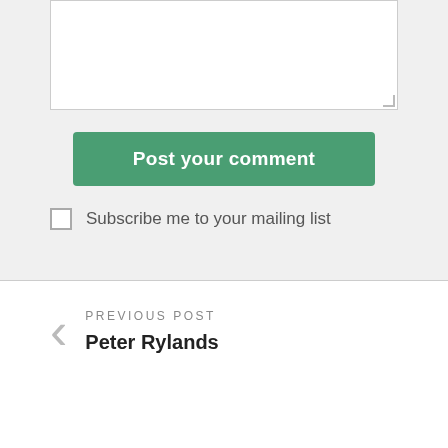[Figure (screenshot): A comment form textarea (white box) with a resize handle in the bottom-right corner, on a light gray background.]
Post your comment
Subscribe me to your mailing list
PREVIOUS POST
Peter Rylands